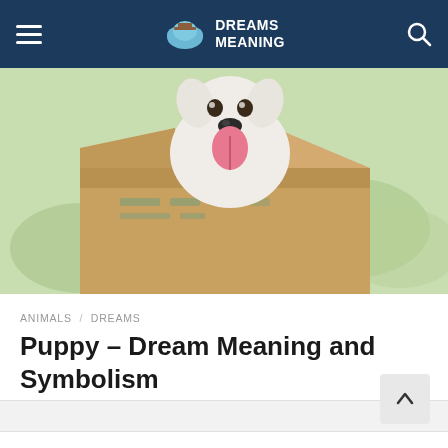DREAMS MEANING
[Figure (photo): A white dog with its tongue out sitting inside a cardboard box, photographed outdoors with a blurred green background]
ANIMALS / DREAMS
Puppy – Dream Meaning and Symbolism